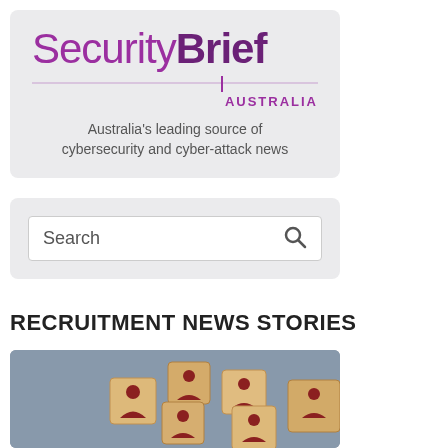[Figure (logo): SecurityBrief Australia logo with tagline: Australia's leading source of cybersecurity and cyber-attack news]
[Figure (screenshot): Search input box with magnifying glass icon]
RECRUITMENT NEWS STORIES
[Figure (photo): Wooden blocks with person/people icons scattered on a grey surface]